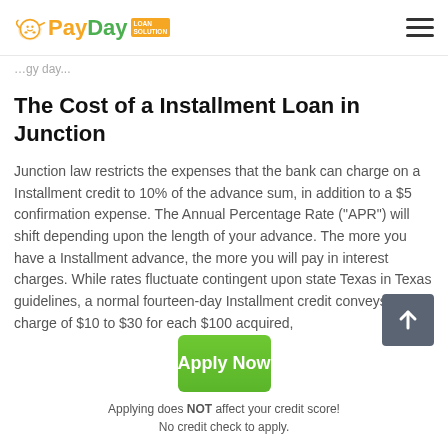PayDay Loan Solution
The Cost of a Installment Loan in Junction
Junction law restricts the expenses that the bank can charge on a Installment credit to 10% of the advance sum, in addition to a $5 confirmation expense. The Annual Percentage Rate ("APR") will shift depending upon the length of your advance. The more you have a Installment advance, the more you will pay in interest charges. While rates fluctuate contingent upon state Texas in Texas guidelines, a normal fourteen-day Installment credit conveys a charge of $10 to $30 for each $100 acquired,
Apply Now
Applying does NOT affect your credit score!
No credit check to apply.